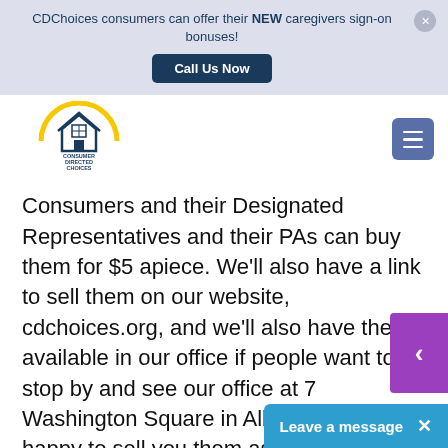CDChoices consumers can offer their NEW caregivers sign-on bonuses!
Call Us Now
[Figure (logo): Consumer Directed Choices logo - house icon with yellow arc and text 'Empowering Independence']
Consumers and their Designated Representatives and their PAs can buy them for $5 apiece. We'll also have a link to sell them on our website, cdchoices.org, and we'll also have them available in our office if people want to stop by and see our office at 7 Washington Square in Albany, we'd be happy to sell you them as well. They're $5 apiece and you can proudly show your support for CDChoices through a simple wristband purchase."